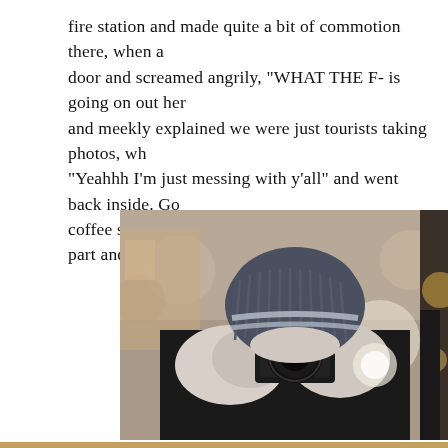fire station and made quite a bit of commotion there, when a door and screamed angrily, "WHAT THE F- is going on out her and meekly explained we were just tourists taking photos, wh "Yeahhh I'm just messing with y'all" and went back inside. Go coffee shops and a tapas brunch later, we had to part and he
[Figure (photo): Person wearing a navy blue ribbed beanie hat with light grey stripes, white knit gloves, and dark coat, holding a black Leica camera up to their face shooting toward viewer, blurred urban background]
[Figure (photo): Partial view of another person in a dark jacket, blurred warm bokeh background with golden lights, appears to be outdoors in urban setting]